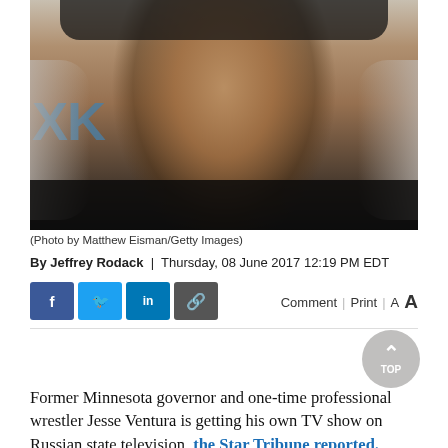[Figure (photo): Close-up portrait photo of Jesse Ventura, a large man with gray-white long hair wearing a dark cap, looking directly at camera. Background shows partial letters 'XK' in blue, suggesting a Sirius XM backdrop.]
(Photo by Matthew Eisman/Getty Images)
By Jeffrey Rodack  |  Thursday, 08 June 2017 12:19 PM EDT
Former Minnesota governor and one-time professional wrestler Jesse Ventura is getting his own TV show on Russian state television, the Star Tribune reported.